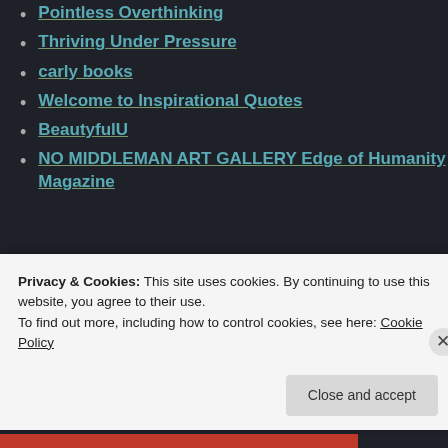Pointless Overthinking
Thriving Under Pressure
carly books
Welcome to Inspirational Quotes
BeautyfulU
NO MIDDLEMAN ART GALLERY Edge of Humanity Magazine
Translate
Select Language
Privacy & Cookies: This site uses cookies. By continuing to use this website, you agree to their use.
To find out more, including how to control cookies, see here: Cookie Policy